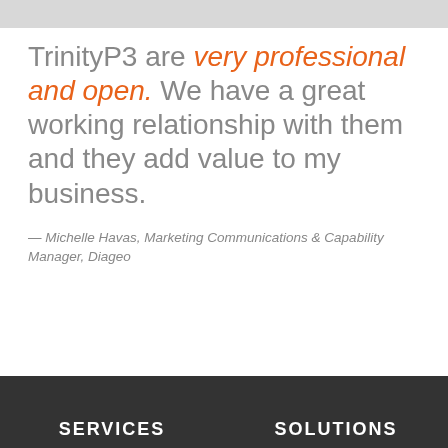[Figure (photo): Partial gray image bar at the top of the page]
TrinityP3 are very professional and open. We have a great working relationship with them and they add value to my business.
— Michelle Havas, Marketing Communications & Capability Manager, Diageo
SERVICES    SOLUTIONS